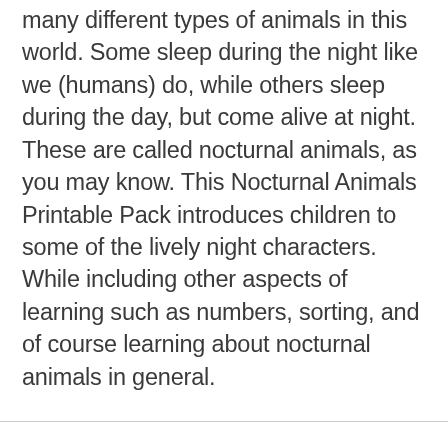many different types of animals in this world. Some sleep during the night like we (humans) do, while others sleep during the day, but come alive at night. These are called nocturnal animals, as you may know. This Nocturnal Animals Printable Pack introduces children to some of the lively night characters. While including other aspects of learning such as numbers, sorting, and of course learning about nocturnal animals in general.